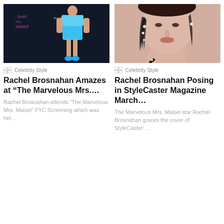[Figure (photo): Woman in blue outfit standing at FYC event with Mrs. Maisel signage in background]
[Figure (photo): Close-up portrait of woman with dark feather earrings and pearl accessories]
Celebrity Style
Rachel Brosnahan Amazes at “The Marvelous Mrs....
Rachel Brosnahan attends “The Marvelous Mrs. Maisel” FYC Screening which was hel...
Celebrity Style
Rachel Brosnahan Posing in StyleCaster Magazine March...
The Marvelous Mrs. Maisel star Rachel Brosnahan graces the cover of StyleCaster’...